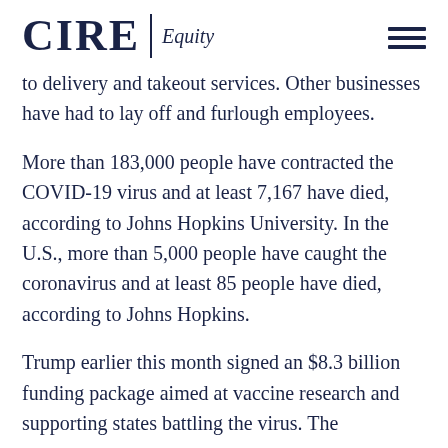CIRE Equity
to delivery and takeout services. Other businesses have had to lay off and furlough employees.
More than 183,000 people have contracted the COVID-19 virus and at least 7,167 have died, according to Johns Hopkins University. In the U.S., more than 5,000 people have caught the coronavirus and at least 85 people have died, according to Johns Hopkins.
Trump earlier this month signed an $8.3 billion funding package aimed at vaccine research and supporting states battling the virus. The